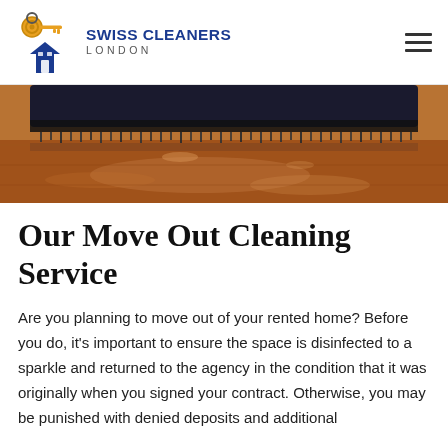SWISS CLEANERS LONDON
[Figure (photo): Close-up photo of a mop or cleaning brush on a shiny hardwood floor, viewed from floor level]
Our Move Out Cleaning Service
Are you planning to move out of your rented home? Before you do, it's important to ensure the space is disinfected to a sparkle and returned to the agency in the condition that it was originally when you signed your contract. Otherwise, you may be punished with denied deposits and additional